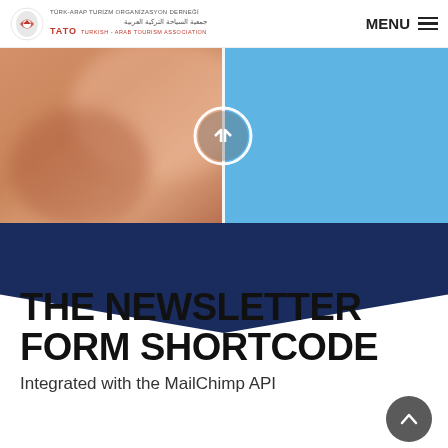TATO - Turkish-Arab Tourism Association | MENU
[Figure (photo): Split hero image: left half shows a blurred close-up portrait in warm skin tones, right half shows a solid sky-blue background. A white circle with left/right navigation arrows is at the center seam.]
THE NEWSLETTER FORM SHORTCODE
Integrated with the MailChimp API